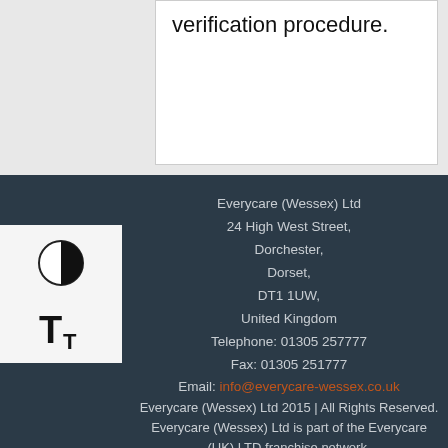verification procedure.
Everycare (Wessex) Ltd
24 High West Street,
Dorchester,
Dorset,
DT1 1UW,
United Kingdom
Telephone: 01305 257777
Fax: 01305 251777
Email: info@everycare-wessex.co.uk
Everycare (Wessex) Ltd 2015 | All Rights Reserved. Everycare (Wessex) Ltd is part of the Everycare (UK) LTD franchise network.
Website built in Dorset by Flavourfy